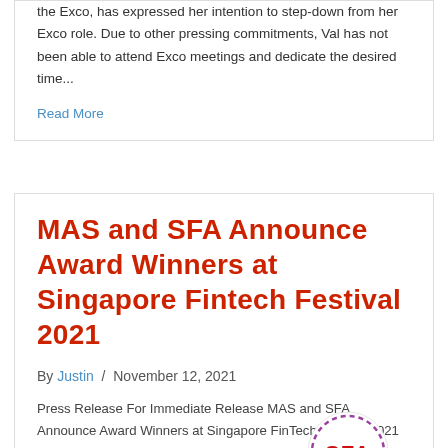the Exco, has expressed her intention to step-down from her Exco role. Due to other pressing commitments, Val has not been able to attend Exco meetings and dedicate the desired time...
Read More
MAS and SFA Announce Award Winners at Singapore Fintech Festival 2021
By Justin / November 12, 2021
Press Release For Immediate Release MAS and SFA Announce Award Winners at Singapore FinTech Festival 2021 Singapore, 12 November 2021 – The Monetary Authority of Singapore (MAS) and the Singapore FinTech Association (SFA) announced the award winners of the
[Figure (logo): SFA logo — circular badge with purple/violet dashed border ring and red bold text 'SFA' in the center on white background]